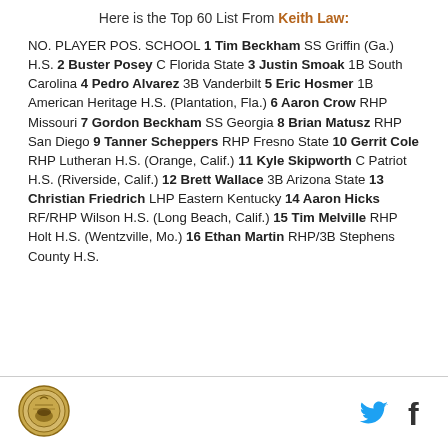Here is the Top 60 List From Keith Law:
NO. PLAYER POS. SCHOOL 1 Tim Beckham SS Griffin (Ga.) H.S. 2 Buster Posey C Florida State 3 Justin Smoak 1B South Carolina 4 Pedro Alvarez 3B Vanderbilt 5 Eric Hosmer 1B American Heritage H.S. (Plantation, Fla.) 6 Aaron Crow RHP Missouri 7 Gordon Beckham SS Georgia 8 Brian Matusz RHP San Diego 9 Tanner Scheppers RHP Fresno State 10 Gerrit Cole RHP Lutheran H.S. (Orange, Calif.) 11 Kyle Skipworth C Patriot H.S. (Riverside, Calif.) 12 Brett Wallace 3B Arizona State 13 Christian Friedrich LHP Eastern Kentucky 14 Aaron Hicks RF/RHP Wilson H.S. (Long Beach, Calif.) 15 Tim Melville RHP Holt H.S. (Wentzville, Mo.) 16 Ethan Martin RHP/3B Stephens County H.S.
logo | twitter | facebook